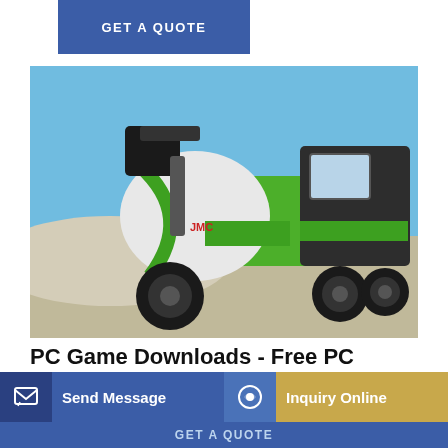[Figure (other): Blue button bar at top with text GET A QUOTE]
[Figure (photo): Green and black self-loading cement mixer truck with white rotating drum, parked on gravel/sand with blue sky background]
PC Game Downloads - Free PC Games | GameTop
Looking for PC games to download for free? Here are the best unlimited full version PC games. Fast and secure game
[Figure (other): Bottom action bar with Send Message button on blue background and Inquiry Online button on gold/tan background, with GET A QUOTE text below]